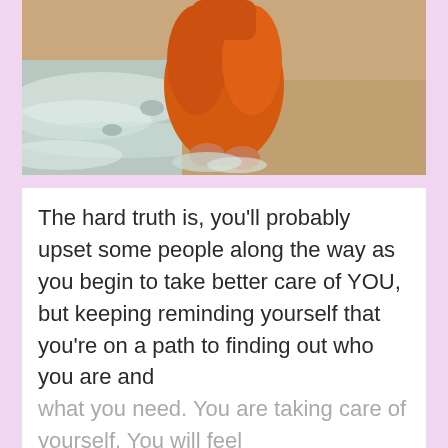[Figure (photo): Aerial/overhead view of a person sitting at the beach shoreline with waves washing over their feet and lower legs, wearing orange pants, on sandy beach]
The hard truth is, you'll probably upset some people along the way as you begin to take better care of YOU, but keeping reminding yourself that you're on a path to finding out who you are and what you need. You are taking care of yourself. You will feel